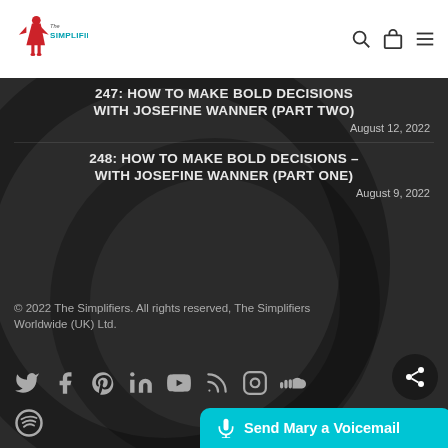The Simplifiers
247: HOW TO MAKE BOLD DECISIONS WITH JOSEFINE WANNER (PART TWO)
August 12, 2022
248: HOW TO MAKE BOLD DECISIONS – WITH JOSEFINE WANNER (PART ONE)
August 9, 2022
© 2022 The Simplifiers. All rights reserved, The Simplifiers Worldwide (UK) Ltd.